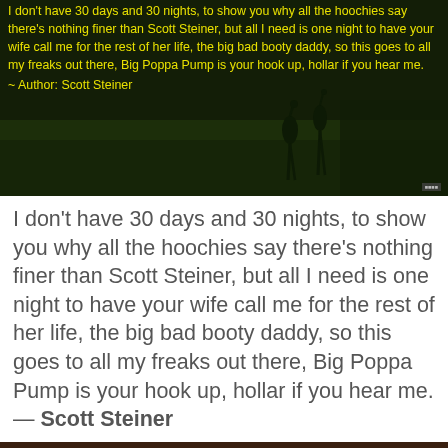[Figure (photo): Dark image with flamingos/birds on grass with yellow text overlay of Scott Steiner quote]
I don't have 30 days and 30 nights, to show you why all the hoochies say there's nothing finer than Scott Steiner, but all I need is one night to have your wife call me for the rest of her life, the big bad booty daddy, so this goes to all my freaks out there, Big Poppa Pump is your hook up, hollar if you hear me. — Scott Steiner
[Figure (photo): Dark brown/wooden surface image at bottom of page]